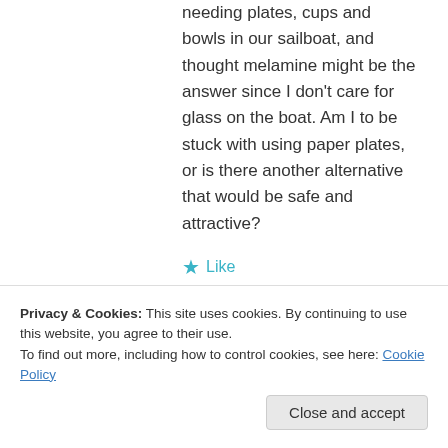needing plates, cups and bowls in our sailboat, and thought melamine might be the answer since I don't care for glass on the boat. Am I to be stuck with using paper plates, or is there another alternative that would be safe and attractive?
★ Like
↳ Reply
Moira on April 13, 2016 at 9:31 am
Privacy & Cookies: This site uses cookies. By continuing to use this website, you agree to their use.
To find out more, including how to control cookies, see here: Cookie Policy
Close and accept
option. If you're taking multi day trips and